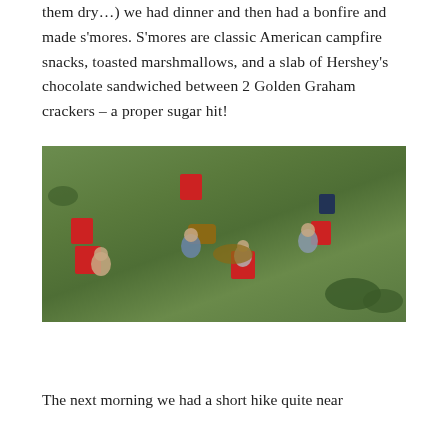them dry…) we had dinner and then had a bonfire and made s'mores. S'mores are classic American campfire snacks, toasted marshmallows, and a slab of Hershey's chocolate sandwiched between 2 Golden Graham crackers – a proper sugar hit!
[Figure (photo): Aerial view of a group of people sitting around a campfire in red folding chairs on a grassy field]
The next morning we had a short hike quite near